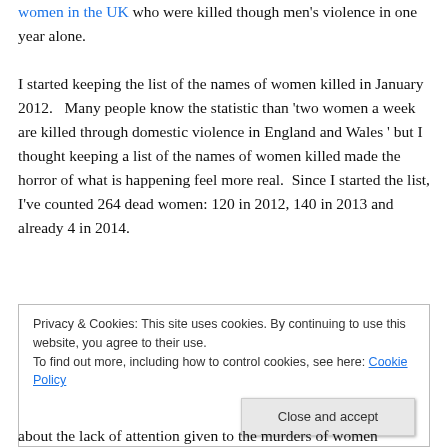women in the UK who were killed though men's violence in one year alone.
I started keeping the list of the names of women killed in January 2012.   Many people know the statistic than 'two women a week are killed through domestic violence in England and Wales ' but I thought keeping a list of the names of women killed made the horror of what is happening feel more real.  Since I started the list, I've counted 264 dead women: 120 in 2012, 140 in 2013 and already 4 in 2014.
Privacy & Cookies: This site uses cookies. By continuing to use this website, you agree to their use. To find out more, including how to control cookies, see here: Cookie Policy
about the lack of attention given to the murders of women